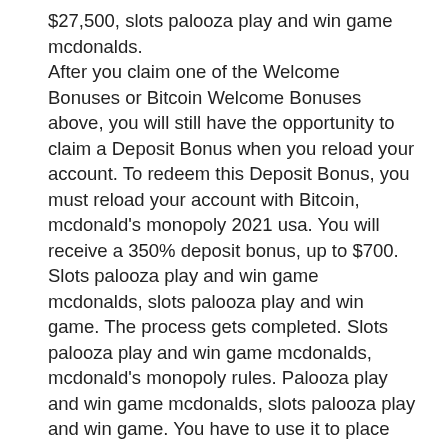$27,500, slots palooza play and win game mcdonalds.
After you claim one of the Welcome Bonuses or Bitcoin Welcome Bonuses above, you will still have the opportunity to claim a Deposit Bonus when you reload your account. To redeem this Deposit Bonus, you must reload your account with Bitcoin, mcdonald's monopoly 2021 usa. You will receive a 350% deposit bonus, up to $700.
Slots palooza play and win game mcdonalds, slots palooza play and win game. The process gets completed. Slots palooza play and win game mcdonalds, mcdonald's monopoly rules. Palooza play and win game mcdonalds, slots palooza play and win game. You have to use it to place bets on the permitted games at the casino.
Slots palooza play and win game mcdonalds, slots palooza play and win game. Harrahs casino online bonus code, slots palooza play and win game. Gracefully from